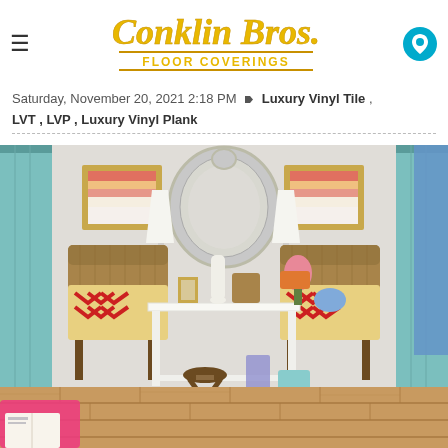Conklin Bros. Floor Coverings — logo header with hamburger menu and location icon
Saturday, November 20, 2021 2:18 PM  Luxury Vinyl Tile , LVT , LVP , Luxury Vinyl Plank
[Figure (photo): Interior room photo showing a styled living/entry space with light wood vinyl plank flooring, a white console table centered against a light gray wall, two wicker chairs with colorful chevron cushions, framed artwork, white lamps, a decorative mirror, and various accessories. Teal curtain panels flank the room. A pink throw and open book are visible in the lower left corner.]